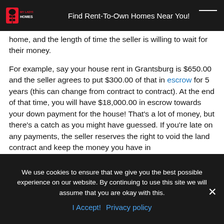MY LADYBUG HOMES | Find Rent-To-Own Homes Near You!
home, and the length of time the seller is willing to wait for their money.
For example, say your house rent in Grantsburg is $650.00 and the seller agrees to put $300.00 of that in escrow for 5 years (this can change from contract to contract). At the end of that time, you will have $18,000.00 in escrow towards your down payment for the house! That's a lot of money, but there's a catch as you might have guessed. If you're late on any payments, the seller reserves the right to void the land contract and keep the money you have in
We use cookies to ensure that we give you the best possible experience on our website. By continuing to use this site we will assume that you are okay with this.
I Accept!  Privacy policy